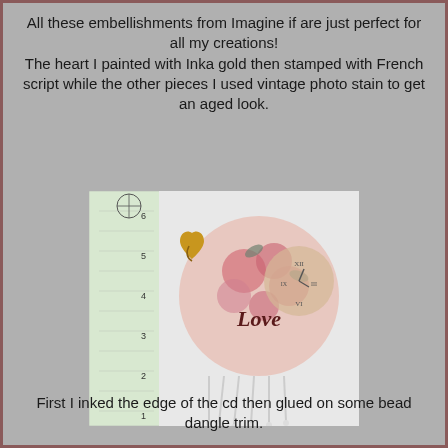All these embellishments from Imagine if are just perfect for all my creations! The heart I painted with Inka gold then stamped with French script while the other pieces I used vintage photo stain to get an aged look.
[Figure (photo): A craft project showing a circular CD decorated with floral fabric, a wooden heart embellishment painted with Inka gold, a 'Love' word cut-out, and bead dangle trim hanging from the bottom. A ruler is visible on the left side.]
First I inked the edge of the cd then glued on some bead dangle trim.